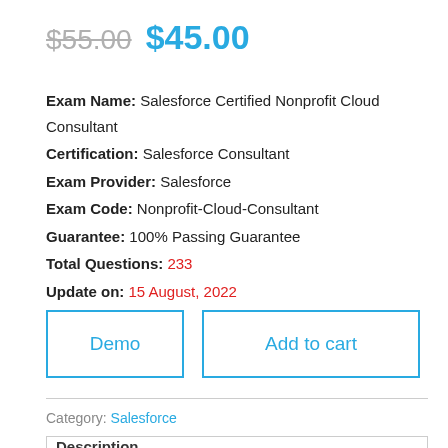$55.00  $45.00
Exam Name: Salesforce Certified Nonprofit Cloud Consultant
Certification: Salesforce Consultant
Exam Provider: Salesforce
Exam Code: Nonprofit-Cloud-Consultant
Guarantee: 100% Passing Guarantee
Total Questions: 233
Update on: 15 August, 2022
Demo | Add to cart
Category: Salesforce
Description